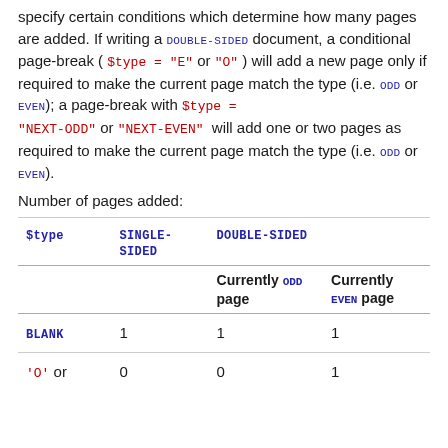specify certain conditions which determine how many pages are added. If writing a DOUBLE-SIDED document, a conditional page-break ( $type = "E" or "O" ) will add a new page only if required to make the current page match the type (i.e. ODD or EVEN); a page-break with $type = "NEXT-ODD" or "NEXT-EVEN" will add one or two pages as required to make the current page match the type (i.e. ODD or EVEN).
Number of pages added:
| $type | SINGLE-SIDED | Currently ODD page | Currently EVEN page |
| --- | --- | --- | --- |
| BLANK | 1 | 1 | 1 |
| 'O' or | 0 | 0 | 1 |